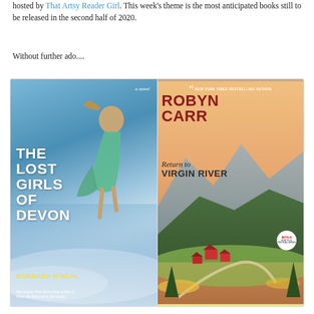hosted by That Artsy Reader Girl. This week's theme is the most anticipated books still to be released in the second half of 2020.
Without further ado....
[Figure (illustration): Two book covers side by side. Left: 'The Lost Girls of Devon' by Barbara O'Neal, showing a woman in a teal dress running along the shore, subtitle 'Washington Post bestselling author of When We Believed in Mermaids'. Right: 'Return to Virgin River' by Robyn Carr, labeled '#1 New York Times Bestselling Author', showing red cabin houses in a mountain valley with a Netflix badge.]